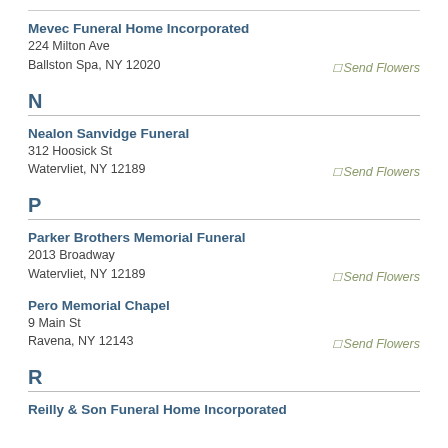Mevec Funeral Home Incorporated
224 Milton Ave
Ballston Spa, NY 12020
Send Flowers
N
Nealon Sanvidge Funeral
312 Hoosick St
Watervliet, NY 12189
Send Flowers
P
Parker Brothers Memorial Funeral
2013 Broadway
Watervliet, NY 12189
Send Flowers
Pero Memorial Chapel
9 Main St
Ravena, NY 12143
Send Flowers
R
Reilly & Son Funeral Home Incorporated